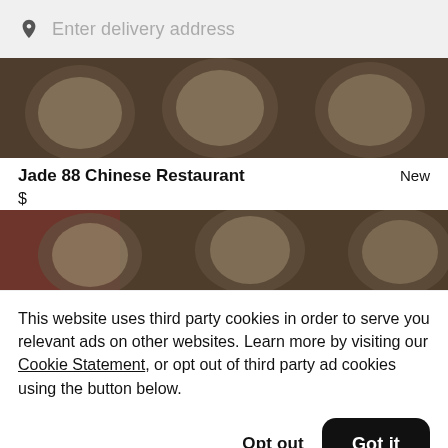Enter delivery address
[Figure (photo): Overhead view of Chinese food dishes in white bowls on dark background]
Jade 88 Chinese Restaurant
New
$
[Figure (photo): Overhead view of Chinese food dishes in white bowls on dark background]
This website uses third party cookies in order to serve you relevant ads on other websites. Learn more by visiting our Cookie Statement, or opt out of third party ad cookies using the button below.
Opt out
Got it